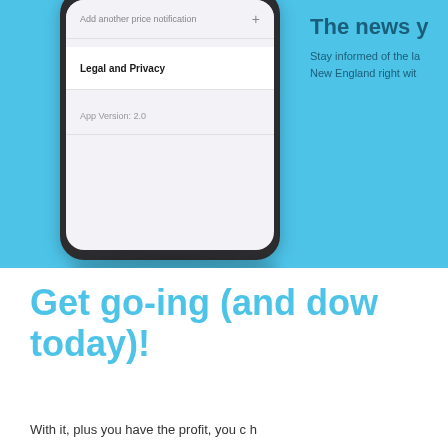[Figure (screenshot): Phone mockup showing a settings screen with 'Add another price notification' row with a + icon, a divider, a 'Legal and Privacy' row in bold, another divider, and an 'App Version: 2.0' row.]
The news y
Stay informed of the la
New England right wit
Get go-ing (and dow
today)!
With it, plus you have the profit, you c h